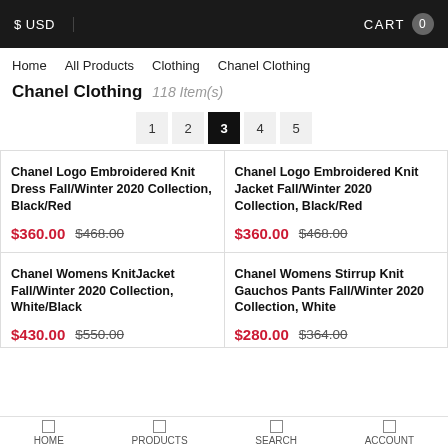$ USD   CART 0
Home   All Products   Clothing   Chanel Clothing
Chanel Clothing  118 Item(s)
Pagination: 1 2 3 4 5
Chanel Logo Embroidered Knit Dress Fall/Winter 2020 Collection, Black/Red
$360.00  $468.00
Chanel Logo Embroidered Knit Jacket Fall/Winter 2020 Collection, Black/Red
$360.00  $468.00
Chanel Womens KnitJacket Fall/Winter 2020 Collection, White/Black
$430.00  $550.00
Chanel Womens Stirrup Knit Gauchos Pants Fall/Winter 2020 Collection, White
$280.00  $364.00
HOME   PRODUCTS   SEARCH   ACCOUNT